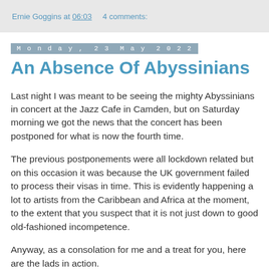Ernie Goggins at 06:03    4 comments:
Monday, 23 May 2022
An Absence Of Abyssinians
Last night I was meant to be seeing the mighty Abyssinians in concert at the Jazz Cafe in Camden, but on Saturday morning we got the news that the concert has been postponed for what is now the fourth time.
The previous postponements were all lockdown related but on this occasion it was because the UK government failed to process their visas in time. This is evidently happening a lot to artists from the Caribbean and Africa at the moment, to the extent that you suspect that it is not just down to good old-fashioned incompetence.
Anyway, as a consolation for me and a treat for you, here are the lads in action.
"Declaration Of Rights" - The Abyssinians